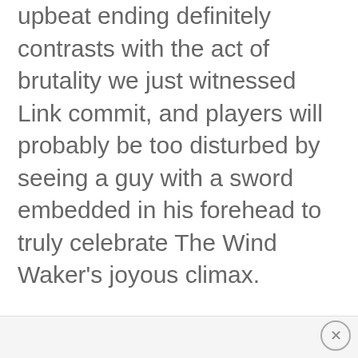upbeat ending definitely contrasts with the act of brutality we just witnessed Link commit, and players will probably be too disturbed by seeing a guy with a sword embedded in his forehead to truly celebrate The Wind Waker's joyous climax.
×